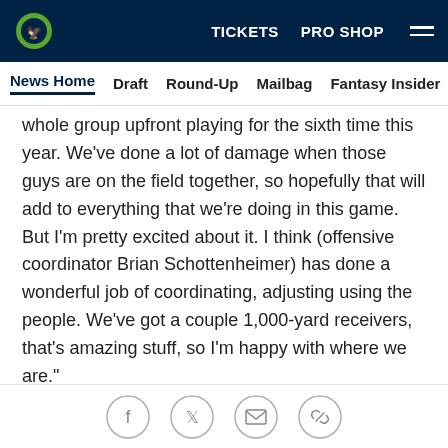TICKETS  PRO SHOP  ☰
News Home  Draft  Round-Up  Mailbag  Fantasy Insider  Roste
whole group upfront playing for the sixth time this year. We've done a lot of damage when those guys are on the field together, so hopefully that will add to everything that we're doing in this game. But I'm pretty excited about it. I think (offensive coordinator Brian Schottenheimer) has done a wonderful job of coordinating, adjusting using the people. We've got a couple 1,000-yard receivers, that's amazing stuff, so I'm happy with where we are."
Said Schottenheimer, "It's a special group, and they deserve all the accolades. I'm very, very proud of the group. Probably more proud of that than any of the
[Figure (other): Social sharing icons: Facebook, Twitter, Email, Link]